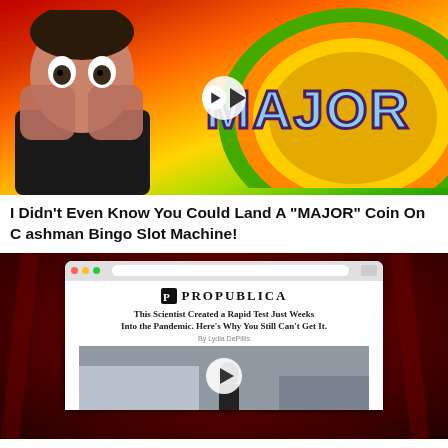[Figure (screenshot): Video thumbnail showing a man with hands covering his face in shock expression, with colorful slot machine graphic showing the word MAJOR in large blue letters on orange/green background, with a play button overlay]
I Didn't Even Know You Could Land A "MAJOR" Coin On Cashman Bingo Slot Machine!
[Figure (screenshot): Video thumbnail showing a browser window displaying a ProPublica article titled 'This Scientist Created a Rapid Test Just Weeks Into the Pandemic. Here's Why You Still Can't Get It.' on a dark red background, with a play button overlay]